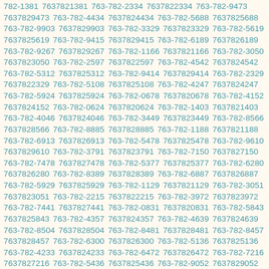782-1381 7637821381 763-782-2334 7637822334 763-782-9473 7637829473 763-782-4434 7637824434 763-782-5688 7637825688 763-782-9903 7637829903 763-782-3329 7637823329 763-782-5619 7637825619 763-782-9415 7637829415 763-782-6189 7637826189 763-782-9267 7637829267 763-782-1166 7637821166 763-782-3050 7637823050 763-782-2597 7637822597 763-782-4542 7637824542 763-782-5312 7637825312 763-782-9414 7637829414 763-782-2329 7637822329 763-782-5108 7637825108 763-782-4247 7637824247 763-782-5924 7637825924 763-782-0678 7637820678 763-782-4152 7637824152 763-782-0624 7637820624 763-782-1403 7637821403 763-782-4046 7637824046 763-782-3449 7637823449 763-782-8566 7637828566 763-782-8885 7637828885 763-782-1188 7637821188 763-782-6913 7637826913 763-782-5478 7637825478 763-782-9610 7637829610 763-782-3791 7637823791 763-782-7150 7637827150 763-782-7478 7637827478 763-782-5377 7637825377 763-782-6280 7637826280 763-782-8389 7637828389 763-782-6887 7637826887 763-782-5929 7637825929 763-782-1129 7637821129 763-782-3051 7637823051 763-782-2215 7637822215 763-782-3972 7637823972 763-782-7441 7637827441 763-782-0831 7637820831 763-782-5843 7637825843 763-782-4357 7637824357 763-782-4639 7637824639 763-782-8504 7637828504 763-782-8481 7637828481 763-782-8457 7637828457 763-782-6300 7637826300 763-782-5136 7637825136 763-782-4233 7637824233 763-782-6472 7637826472 763-782-7216 7637827216 763-782-5436 7637825436 763-782-9052 7637829052 763-782-7996 7637827996 763-782-7530 7637827530 763-782-2145 7637822145 763-782-9649 7637829649 763-782-2238 7637822238 763-782-4816 7637824816 763-782-4868 7637824868 763-782-1353